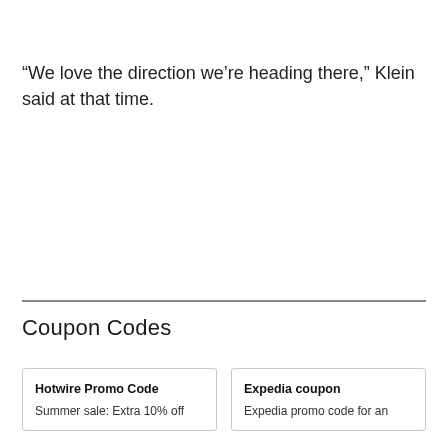“We love the direction we’re heading there,” Klein said at that time.
Coupon Codes
| Hotwire Promo Code | Expedia coupon |
| --- | --- |
| Summer sale: Extra 10% off | Expedia promo code for an |